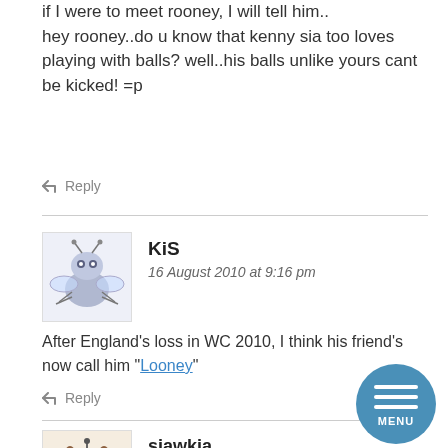if I were to meet rooney, I will tell him.. hey rooney..do u know that kenny sia too loves playing with balls? well..his balls unlike yours cant be kicked! =p
↩ Reply
[Figure (illustration): Avatar of user KiS — cartoon insect character illustration]
KiS
16 August 2010 at 9:16 pm
After England's loss in WC 2010, I think his friend's now call him "Looney"
↩ Reply
[Figure (illustration): Avatar of user siawkia — cartoon brown creature illustration]
siawkia
16 August 2010 at 9:51 pm
[Figure (other): Blue circular MENU button with three horizontal lines]